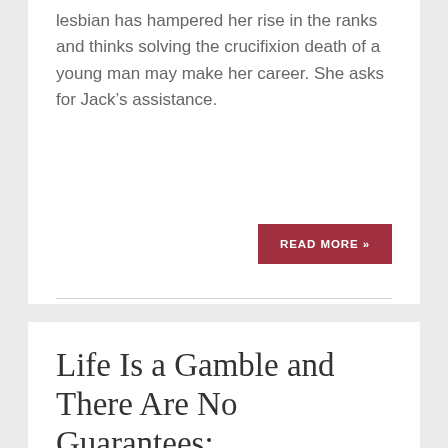lesbian has hampered her rise in the ranks and thinks solving the crucifixion death of a young man may make her career. She asks for Jack's assistance.
READ MORE »
Life Is a Gamble and There Are No Guarantees: MysteryPeople Q&A with